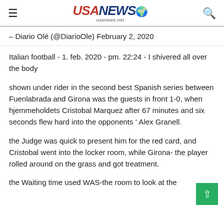USA NEWS usanews.net
— Diario Olé (@DiarioOle) February 2, 2020
Italian football - 1. feb. 2020 - pm. 22:24 - I shivered all over the body
shown under rider in the second best Spanish series between Fuenlabrada and Girona was the guests in front 1-0, when hjemmeholdets Cristobal Marquez after 67 minutes and six seconds flew hard into the opponents ' Alex Granell.
the Judge was quick to present him for the red card, and Cristobal went into the locker room, while Girona- the player rolled around on the grass and got treatment.
the Waiting time used WAS-the room to look at the